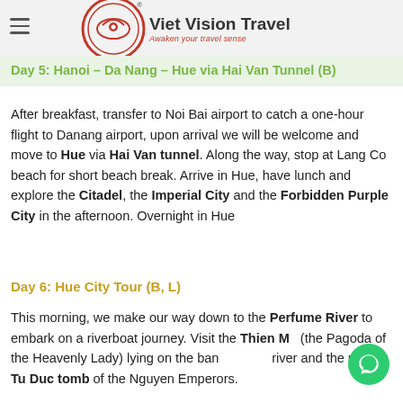Viet Vision Travel — Awaken your travel sense
Day 5: Hanoi – Da Nang – Hue via Hai Van Tunnel (B)
After breakfast, transfer to Noi Bai airport to catch a one-hour flight to Danang airport, upon arrival we will be welcome and move to Hue via Hai Van tunnel. Along the way, stop at Lang Co beach for short beach break. Arrive in Hue, have lunch and explore the Citadel, the Imperial City and the Forbidden Purple City in the afternoon. Overnight in Hue
Day 6: Hue City Tour (B, L)
This morning, we make our way down to the Perfume River to embark on a riverboat journey. Visit the Thien Mu (the Pagoda of the Heavenly Lady) lying on the banks of the river and the nearby Tu Duc tomb of the Nguyen Emperors.